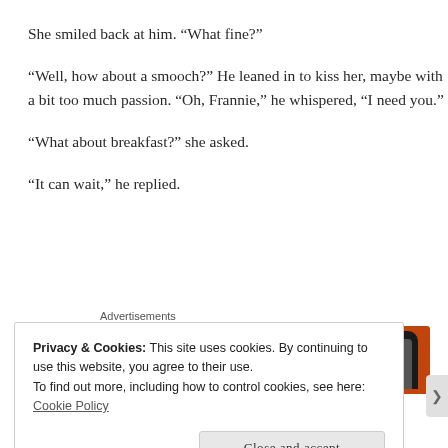She smiled back at him. “What fine?”
“Well, how about a smooch?” He leaned in to kiss her, maybe with a bit too much passion. “Oh, Frannie,” he whispered, “I need you.”
“What about breakfast?” she asked.
“It can wait,” he replied.
[Figure (other): Advertisement banner with orange background and phone graphic]
Privacy & Cookies: This site uses cookies. By continuing to use this website, you agree to their use.
To find out more, including how to control cookies, see here: Cookie Policy